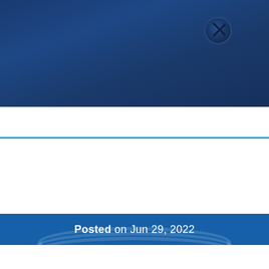[Figure (photo): Close-up photo of mechanical components with a screw visible, overlaid with dark blue tint]
Posted on Jun 29, 2022
[Figure (photo): Photo of a miniature F1 racing car model on a circular disc/platform, overlaid with dark blue tint, with text overlay 'QESTUDIO F1 IN SCHOOLS' and a 'MORE' button]